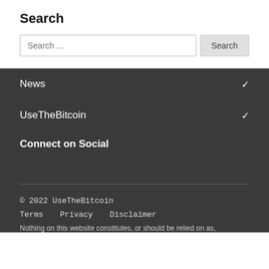Search
[Figure (screenshot): Search input field with placeholder text 'Search ...' and a Search button]
News
UseTheBitcoin
Connect on Social
© 2022 UseTheBitcoin
Terms   Privacy   Disclaimer
Nothing on this website constitutes, or should be relied on as,